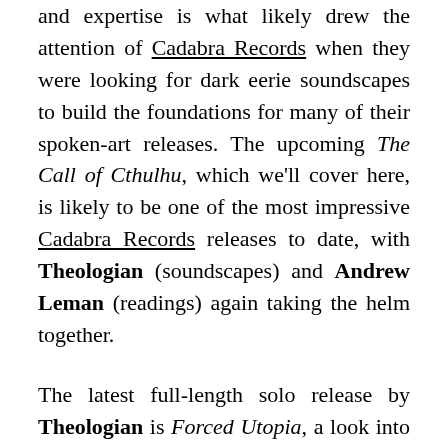and expertise is what likely drew the attention of Cadabra Records when they were looking for dark eerie soundscapes to build the foundations for many of their spoken-art releases. The upcoming The Call of Cthulhu, which we'll cover here, is likely to be one of the most impressive Cadabra Records releases to date, with Theologian (soundscapes) and Andrew Leman (readings) again taking the helm together.
The latest full-length solo release by Theologian is Forced Utopia, a look into a mind that sees in only darkness, in a world which is on a collision course with utter disaster. It equally examines the inner thoughts of one left to fend for themselves in an increasingly cannibalistic society, and the outer landscapes, as they dry and eventually conflagrate, burning to ash. The